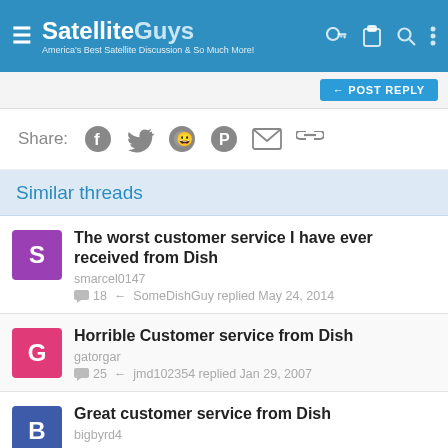SatelliteGuys — America's Best Satellite Discussion & So Much More!
POST REPLY
Share:
Similar threads
The worst customer service I have ever received from Dish
smarcel0147
18 · SomeDishGuy replied May 24, 2014
Horrible Customer service from Dish
gatorgar
25 · jmd102354 replied Jan 29, 2007
Great customer service from Dish
bigbyrd4